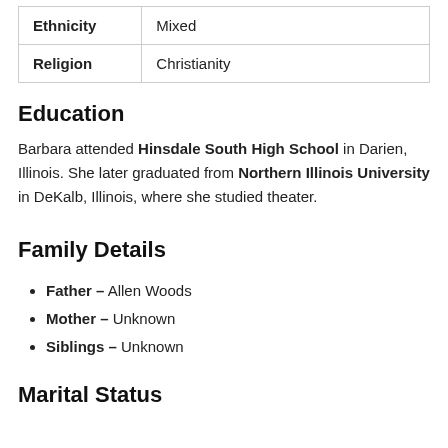| Ethnicity | Mixed |
| Religion | Christianity |
Education
Barbara attended Hinsdale South High School in Darien, Illinois. She later graduated from Northern Illinois University in DeKalb, Illinois, where she studied theater.
Family Details
Father – Allen Woods
Mother – Unknown
Siblings – Unknown
Marital Status